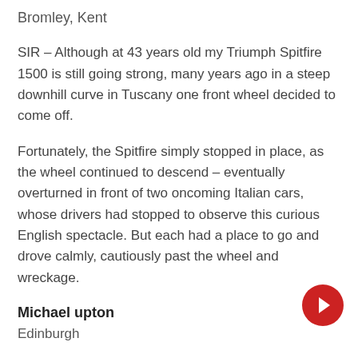Bromley, Kent
SIR – Although at 43 years old my Triumph Spitfire 1500 is still going strong, many years ago in a steep downhill curve in Tuscany one front wheel decided to come off.
Fortunately, the Spitfire simply stopped in place, as the wheel continued to descend – eventually overturned in front of two oncoming Italian cars, whose drivers had stopped to observe this curious English spectacle. But each had a place to go and drove calmly, cautiously past the wheel and wreckage.
Michael upton
Edinburgh
SIR – at 37i...